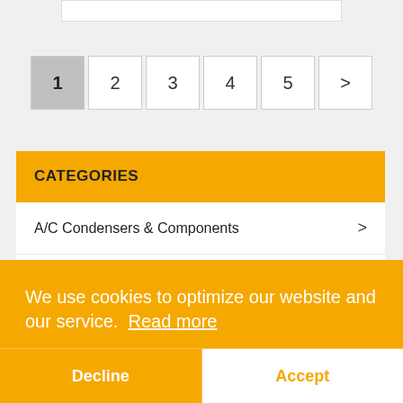[Figure (screenshot): White search/input bar stub at top of page]
Pagination: 1 (active), 2, 3, 4, 5, >
CATEGORIES
A/C Condensers & Components >
Automotive lighting (partially visible)
We use cookies to optimize our website and our service. Read more
Decline
Accept
- Headlights